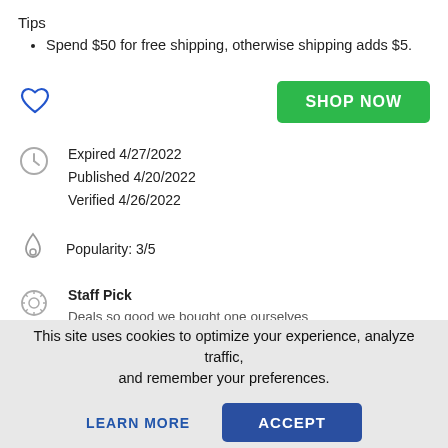Tips
Spend $50 for free shipping, otherwise shipping adds $5.
[Figure (illustration): Blue heart outline icon (favorite/wishlist) on the left, and a green 'SHOP NOW' button on the right]
Expired 4/27/2022
Published 4/20/2022
Verified 4/26/2022
Popularity: 3/5
Staff Pick
Deals so good we bought one ourselves
This site uses cookies to optimize your experience, analyze traffic, and remember your preferences.